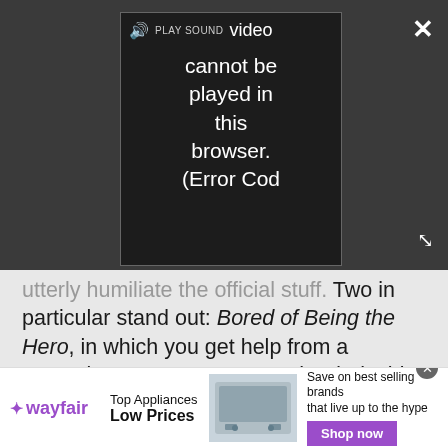[Figure (screenshot): Video player overlay on dark background showing 'Video cannot be played in this browser. (Error Cod' message with PLAY SOUND header, close X button and expand arrows]
utterly humiliate the official stuff. Two in particular stand out: Bored of Being the Hero, in which you get help from a mysterious source to turn to the dark side, with your choice of mystical item and potential backup of an army of shades, and Whispers from the Void, which stretches the tools to the max to create a spooky, well-framed little Lovecraftian tale.
Advertisement
[Figure (screenshot): Mac Life advertisement banner showing 'RACK' text on teal background]
[Figure (screenshot): Wayfair advertisement: Top Appliances Low Prices, Save on best selling brands that live up to the hype, Shop now button]